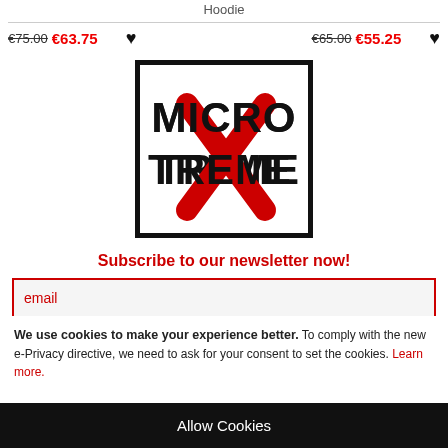Hoodie
€75.00 €63.75 ♥   €65.00 €55.25 ♥
[Figure (logo): MicroXtreme logo — black bordered rectangle with bold text MICRO TREME and a large red X overlapping both words]
Subscribe to our newsletter now!
email
We use cookies to make your experience better. To comply with the new e-Privacy directive, we need to ask for your consent to set the cookies. Learn more.
Allow Cookies